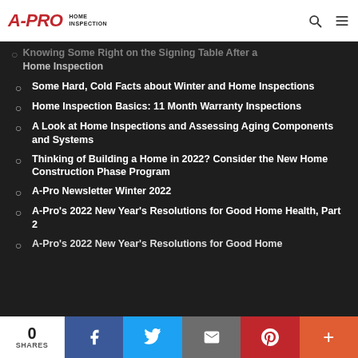A-PRO HOME INSPECTION
Knowing Some Right on the Signing Table After a Home Inspection
Some Hard, Cold Facts about Winter and Home Inspections
Home Inspection Basics: 11 Month Warranty Inspections
A Look at Home Inspections and Assessing Aging Components and Systems
Thinking of Building a Home in 2022? Consider the New Home Construction Phase Program
A-Pro Newsletter Winter 2022
A-Pro's 2022 New Year's Resolutions for Good Home Health, Part 2
A-Pro's 2022 New Year's Resolutions for Good Home
0 SHARES